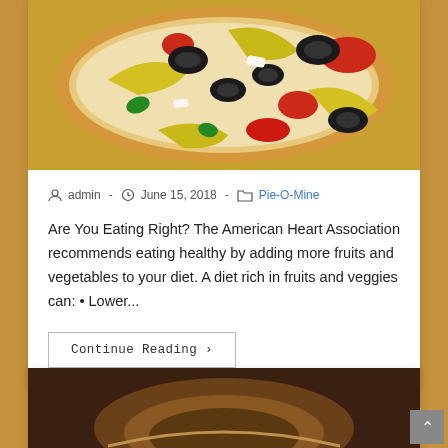[Figure (photo): Close-up photo of a colorful pizza or flatbread topped with black olives, yellow banana peppers, red tomatoes or peppers, green herbs, and white cheese/onions]
admin  -  June 15, 2018  -  Pie-O-Mine
Are You Eating Right? The American Heart Association recommends eating healthy by adding more fruits and vegetables to your diet. A diet rich in fruits and veggies can: • Lower...
Continue Reading ›
[Figure (photo): Partial view of a second food photo, appears to be a baked dish, partially visible at bottom of page]